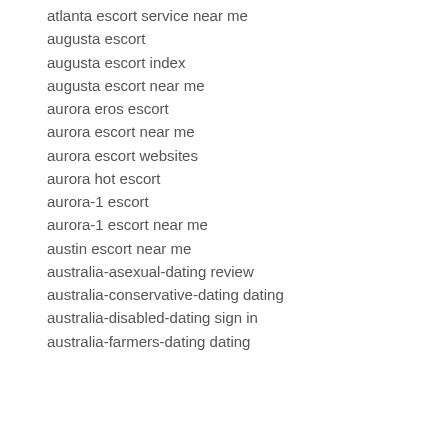atlanta escort service near me
augusta escort
augusta escort index
augusta escort near me
aurora eros escort
aurora escort near me
aurora escort websites
aurora hot escort
aurora-1 escort
aurora-1 escort near me
austin escort near me
australia-asexual-dating review
australia-conservative-dating dating
australia-disabled-dating sign in
australia-farmers-dating dating